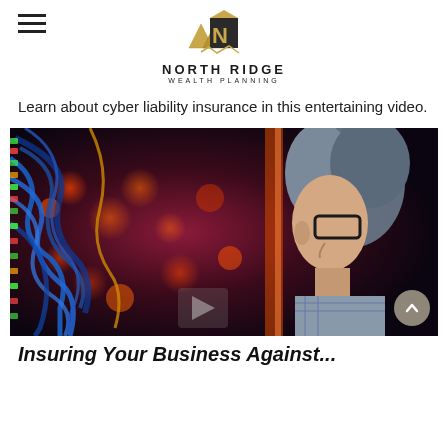North Ridge Wealth Planning
Learn about cyber liability insurance in this entertaining video.
[Figure (photo): A woman with short blonde hair and glasses examines a server rack full of colorful, illuminated cables and network equipment in a data center.]
Insuring Your Business Against...